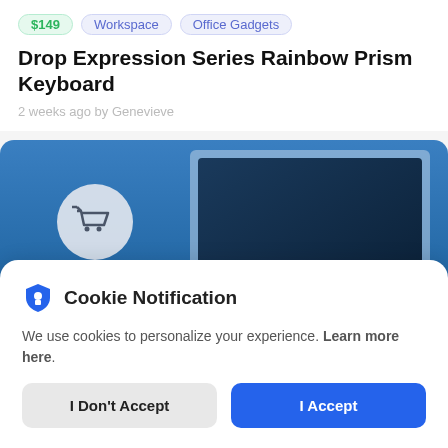$149 | Workspace | Office Gadgets
Drop Expression Series Rainbow Prism Keyboard
2 weeks ago by Genevieve
[Figure (screenshot): A product listing image showing a keyboard on a blue background with a shopping cart icon and green plant leaves]
Cookie Notification
We use cookies to personalize your experience. Learn more here.
I Don't Accept | I Accept